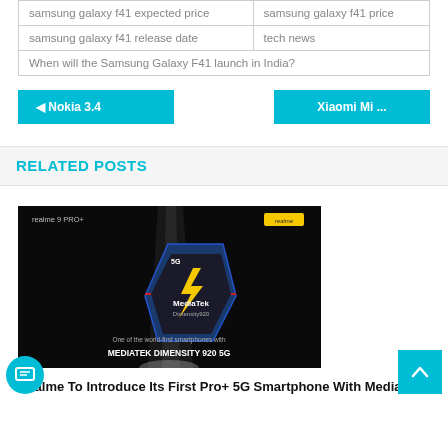| samsung galaxy f41 expected price | samsung galaxy f41 price |
| samsung galaxy f41 release date | tech news |
| When will the Samsung Galaxy F41 launch in India? |  |
◄ Nokia 3.4
Xiaomi Mi …
RELATED POSTS
[Figure (photo): Realme 9 PRO+ promotional image featuring MediaTek Dimensity 920 5G chip with text 'One of the world-first smartphones with MEDIATEK DIMENSITY 920 5G']
Realme To Introduce Its First Pro+ 5G Smartphone With MediaTek